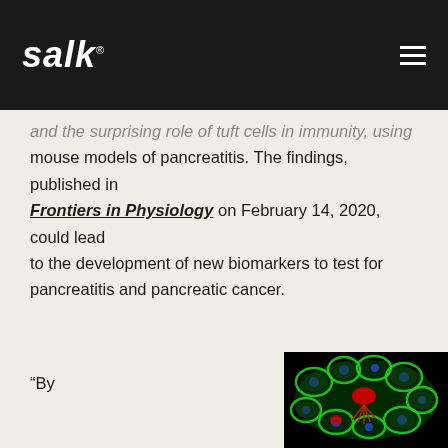Salk
and the surprising role of tuft cells in immunity, using mouse models of pancreatitis. The findings, published in Frontiers in Physiology on February 14, 2020, could lead to the development of new biomarkers to test for pancreatitis and pancreatic cancer.
“By
[Figure (photo): Fluorescence microscopy image of pancreatic tissue showing green acinar cells with blue nuclei and a central red structure, likely a duct or tuft cell cluster, against a black background.]